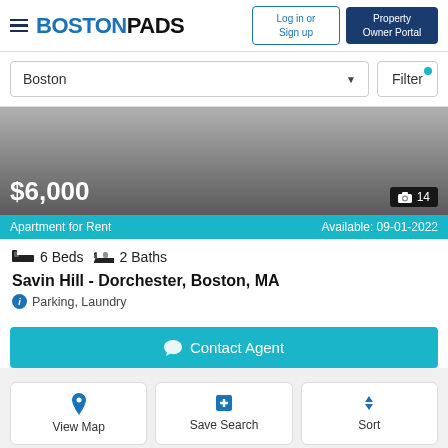BOSTONPADS — Log in or Sign up | Property Owner Portal
Boston — Filter
[Figure (screenshot): Apartment listing image showing a building photo with gradient overlay]
$6,000
📷 14
Apartment for Rent   Available: 09-01-2022
6 Beds  2 Baths
Savin Hill - Dorchester, Boston, MA
Parking, Laundry
Contact Agent
View Map | Save Search | Sort